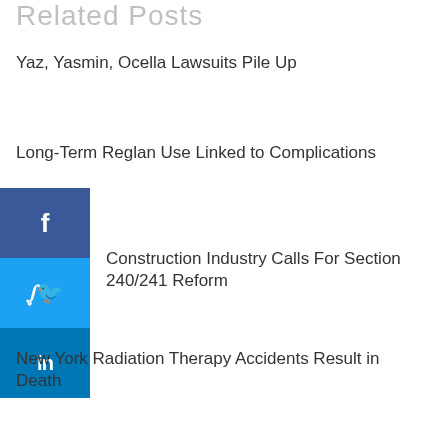Related Posts
Yaz, Yasmin, Ocella Lawsuits Pile Up
Long-Term Reglan Use Linked to Complications
[Figure (infographic): Social media sharing buttons: Facebook (f), Twitter (bird icon), LinkedIn (in)]
Construction Industry Calls For Section 240/241 Reform
New York Radiation Therapy Accidents Result in Death